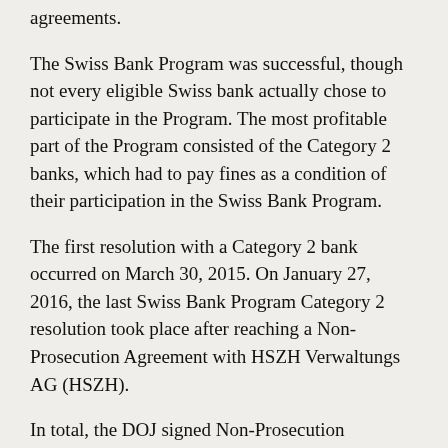agreements.
The Swiss Bank Program was successful, though not every eligible Swiss bank actually chose to participate in the Program. The most profitable part of the Program consisted of the Category 2 banks, which had to pay fines as a condition of their participation in the Swiss Bank Program.
The first resolution with a Category 2 bank occurred on March 30, 2015. On January 27, 2016, the last Swiss Bank Program Category 2 resolution took place after reaching a Non-Prosecution Agreement with HSZH Verwaltungs AG (HSZH).
In total, the DOJ signed Non-Prosecution Agreements with about 80 banks and collected more than $1.36 billion in Swiss Bank Penalties, including $49 million from the last Swiss Bank Program Category 2 resolution. While this amount pales in comparison with